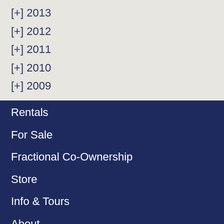[+] 2013
[+] 2012
[+] 2011
[+] 2010
[+] 2009
Rentals
For Sale
Fractional Co-Ownership
Store
Info & Tours
About
Blog
Contact us